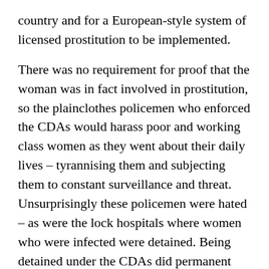country and for a European-style system of licensed prostitution to be implemented.
There was no requirement for proof that the woman was in fact involved in prostitution, so the plainclothes policemen who enforced the CDAs would harass poor and working class women as they went about their daily lives – tyrannising them and subjecting them to constant surveillance and threat. Unsurprisingly these policemen were hated – as were the lock hospitals where women who were infected were detained. Being detained under the CDAs did permanent damage to women's reputations such that it made it practically impossible to subsequently escape from prostitution.
Josephine was urged to lead a national campaign